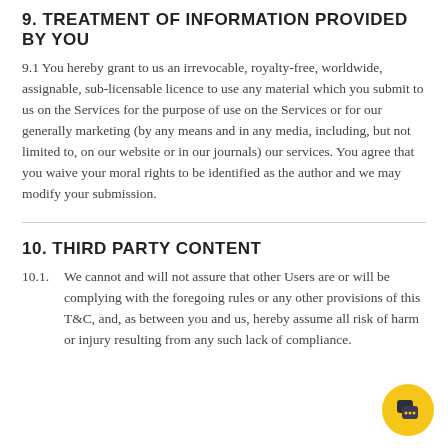9. TREATMENT OF INFORMATION PROVIDED BY YOU
9.1 You hereby grant to us an irrevocable, royalty-free, worldwide, assignable, sub-licensable licence to use any material which you submit to us on the Services for the purpose of use on the Services or for our generally marketing (by any means and in any media, including, but not limited to, on our website or in our journals) our services. You agree that you waive your moral rights to be identified as the author and we may modify your submission.
10. THIRD PARTY CONTENT
10.1.  We cannot and will not assure that other Users are or will be complying with the foregoing rules or any other provisions of this T&C, and, as between you and us, hereby assume all risk of harm or injury resulting from any such lack of compliance.